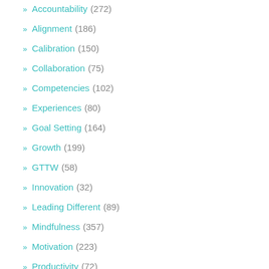Accountability (272)
Alignment (186)
Calibration (150)
Collaboration (75)
Competencies (102)
Experiences (80)
Goal Setting (164)
Growth (199)
GTTW (58)
Innovation (32)
Leading Different (89)
Mindfulness (357)
Motivation (223)
Productivity (72)
Purpose (311)
Reflection (122)